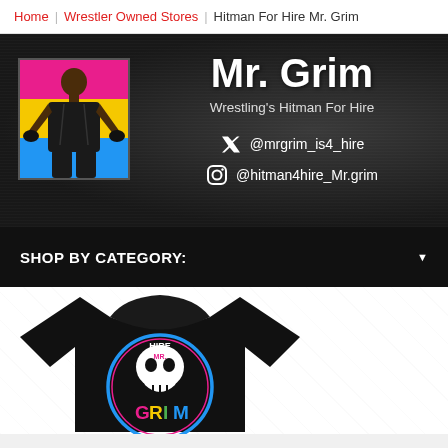Home | Wrestler Owned Stores | Hitman For Hire Mr. Grim
[Figure (screenshot): Mr. Grim wrestler store banner. Dark textured background with a profile image of a wrestler on a tricolor (pink/yellow/blue) background on the left. Right side shows: Mr. Grim name in large bold white text, tagline 'Wrestling's Hitman For Hire', Twitter handle @mrgrim_is4_hire, Instagram handle @hitman4hire_Mr.grim]
SHOP BY CATEGORY:
[Figure (photo): Black t-shirt with 'Hire Mr. Grim' logo: skull with rainbow GRIM text on a circular design with pink/cyan/yellow colors]